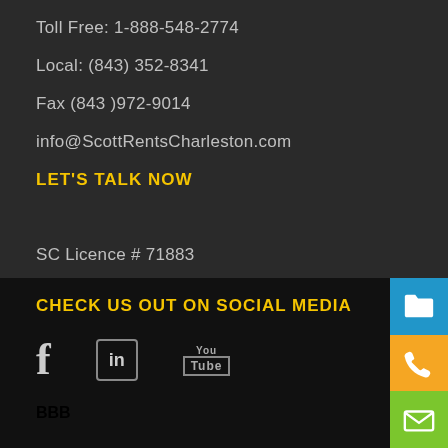Toll Free: 1-888-548-2774
Local: (843) 352-8341
Fax (843 )972-9014
info@ScottRentsCharleston.com
LET'S TALK NOW
SC Licence # 71883
SP OF THE MIDLANDS
CHECK US OUT ON SOCIAL MEDIA
[Figure (illustration): Social media icons: Facebook (f), LinkedIn (in), YouTube logo]
BBB
[Figure (illustration): Three side buttons: blue folder icon, orange phone icon, green mail/envelope icon]